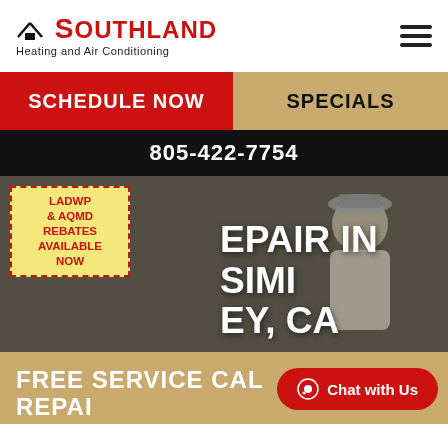[Figure (logo): Southland Heating and Air Conditioning logo with red roof icon and red/black text]
SCHEDULE NOW
SPECIALS
805-422-7754
[Figure (photo): Man in white shirt and cap working on HVAC equipment outdoors against wood siding backdrop]
LADWP & AQMD REBATES AVAILABLE NOW
REPAIR IN SIMI EY, CA
FREE SERVICE CAL REPAI
Chat with Us